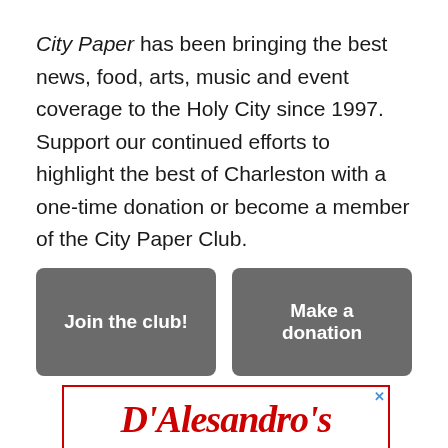City Paper has been bringing the best news, food, arts, music and event coverage to the Holy City since 1997. Support our continued efforts to highlight the best of Charleston with a one-time donation or become a member of the City Paper Club.
[Figure (other): Two gray rounded-rectangle buttons side by side: 'Join the club!' and 'Make a donation']
[Figure (other): Advertisement banner with red border showing D'Alesandro's logo in red cursive script on white background]